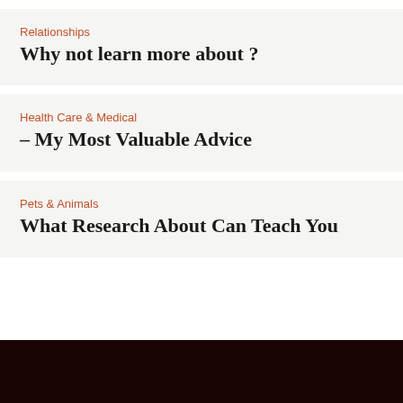Relationships
Why not learn more about ?
Health Care & Medical
– My Most Valuable Advice
Pets & Animals
What Research About Can Teach You